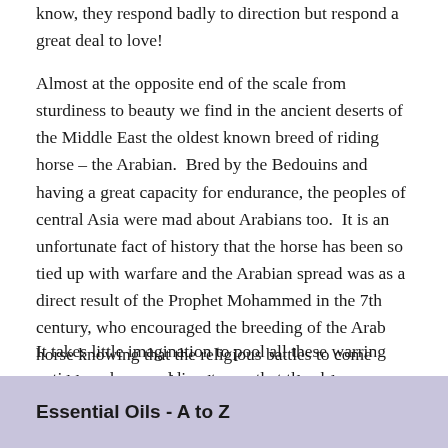know, they respond badly to direction but respond a great deal to love!
Almost at the opposite end of the scale from sturdiness to beauty we find in the ancient deserts of the Middle East the oldest known breed of riding horse – the Arabian.  Bred by the Bedouins and having a great capacity for endurance, the peoples of central Asia were mad about Arabians too.  It is an unfortunate fact of history that the horse has been so tied up with warfare and the Arabian spread was as a direct result of the Prophet Mohammed in the 7th century, who encouraged the breeding of the Arab horse knowing that the religious battles to come would require steeds with exceptional qualities.
It takes little imagination to pool all these warring nations or horse soldiers to see that they became responsible not only for our and so on but also rse.  We can think of
Essential Oils - A to Z